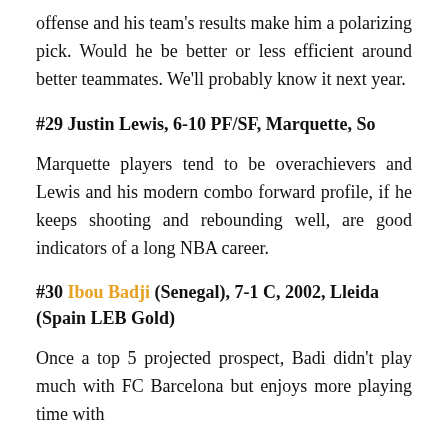offense and his team's results make him a polarizing pick. Would he be better or less efficient around better teammates. We'll probably know it next year.
#29 Justin Lewis, 6-10 PF/SF, Marquette, So
Marquette players tend to be overachievers and Lewis and his modern combo forward profile, if he keeps shooting and rebounding well, are good indicators of a long NBA career.
#30 Ibou Badji (Senegal), 7-1 C, 2002, Lleida (Spain LEB Gold)
Once a top 5 projected prospect, Badi didn't play much with FC Barcelona but enjoys more playing time with